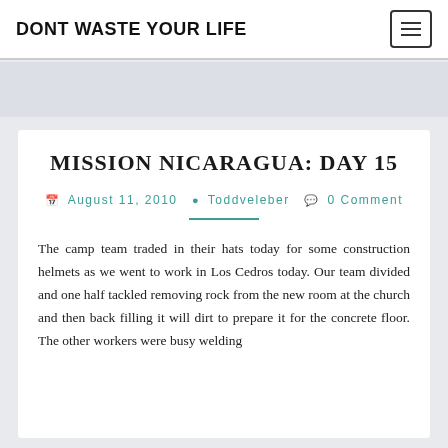DONT WASTE YOUR LIFE
MISSION NICARAGUA: DAY 15
August 11, 2010  Toddveleber  0 Comment
The camp team traded in their hats today for some construction helmets as we went to work in Los Cedros today. Our team divided and one half tackled removing rock from the new room at the church and then back filling it will dirt to prepare it for the concrete floor. The other workers were busy welding